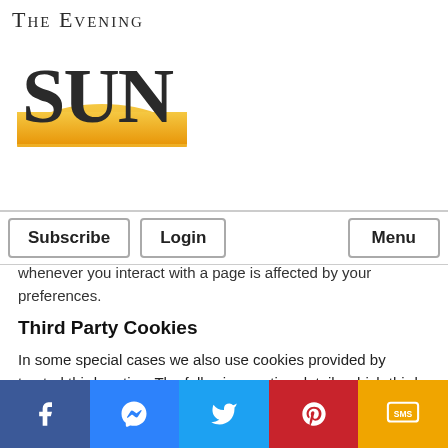[Figure (logo): The Evening Sun newspaper logo with large bold SUN text and golden arc/sunburst graphic]
Subscribe | Login | Menu
whenever you interact with a page is affected by your preferences.
Third Party Cookies
In some special cases we also use cookies provided by trusted third parties. The following section details which third party cookies you might encounter through this site.
This site uses Google Analytics which is one of the most widespread and trusted analytics solution on the web for helping us to understand how you use
[Figure (infographic): Social sharing bar at the bottom with Facebook, Messenger, Twitter, Pinterest, and SMS buttons]